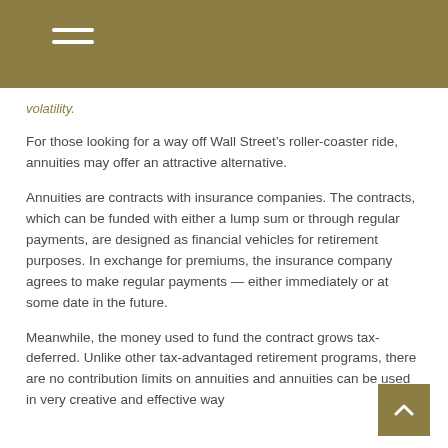volatility.
For those looking for a way off Wall Street’s roller-coaster ride, annuities may offer an attractive alternative.
Annuities are contracts with insurance companies. The contracts, which can be funded with either a lump sum or through regular payments, are designed as financial vehicles for retirement purposes. In exchange for premiums, the insurance company agrees to make regular payments — either immediately or at some date in the future.
Meanwhile, the money used to fund the contract grows tax-deferred. Unlike other tax-advantaged retirement programs, there are no contribution limits on annuities and annuities can be used in very creative and effective way…